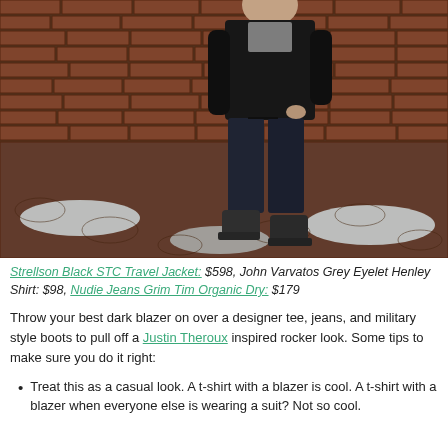[Figure (photo): A man wearing a dark blazer/jacket, grey henley shirt, dark jeans, and dark military boots, standing against a red brick wall with snow on the ground.]
Strellson Black STC Travel Jacket: $598, John Varvatos Grey Eyelet Henley Shirt: $98, Nudie Jeans Grim Tim Organic Dry: $179
Throw your best dark blazer on over a designer tee, jeans, and military style boots to pull off a Justin Theroux inspired rocker look. Some tips to make sure you do it right:
Treat this as a casual look. A t-shirt with a blazer is cool. A t-shirt with a blazer when everyone else is wearing a suit? Not so cool.